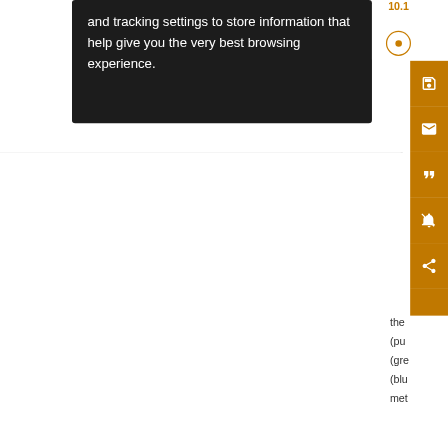and tracking settings to store information that help give you the very best browsing experience.
[Figure (screenshot): Orange sidebar with icons: save (floppy disk), email (envelope), quote (speech marks), mute (bell with slash), share (connected dots)]
the (pu (gre (blu met